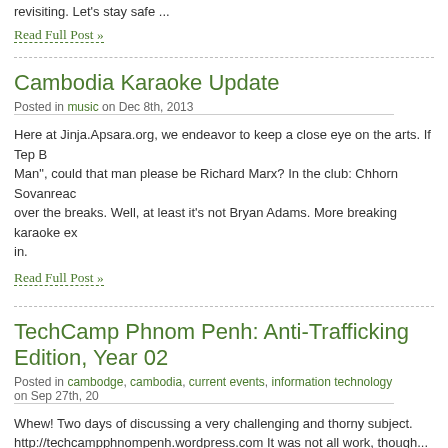revisiting. Let's stay safe ...
Read Full Post »
Cambodia Karaoke Update
Posted in music on Dec 8th, 2013
Here at Jinja.Apsara.org, we endeavor to keep a close eye on the arts. If Tep B... Man", could that man please be Richard Marx? In the club: Chhorn Sovanreac... over the breaks. Well, at least it's not Bryan Adams. More breaking karaoke ex... in.
Read Full Post »
TechCamp Phnom Penh: Anti-Trafficking Edition, Year 0...
Posted in cambodge, cambodia, current events, information technology on Sep 27th, 20...
Whew! Two days of discussing a very challenging and thorny subject. http://techcampphnompenh.wordpress.com It was not all work, though... Sum...